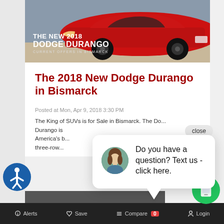[Figure (screenshot): Screenshot of a car dealership webpage for the 2018 Dodge Durango in Bismarck, showing a red car banner, article title, posted date, article excerpt, a chat popup overlay with avatar and text, accessibility icon, phone button, and a bottom navigation bar with Alerts, Save, Compare, and Login items.]
The 2018 New Dodge Durango in Bismarck
Posted at Mon, Apr 9, 2018 3:30 PM
The King of SUVs is for Sale in Bismarck. The Dodge Durango is America's b... three-row
Do you have a question? Text us - click here.
Alerts  Save  Compare 0  Login